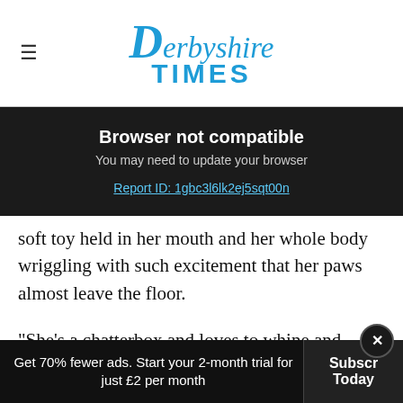Derbyshire Times
Browser not compatible
You may need to update your browser
Report ID: 1gbc3l6lk2ej5sqt00n
soft toy held in her mouth and her whole body wriggling with such excitement that her paws almost leave the floor.
"She's a chatterbox and loves to whine and groan in conversation to whoever will listen."
[Figure (photo): Outdoor photo, blurred green background]
Get 70% fewer ads. Start your 2-month trial for just £2 per month